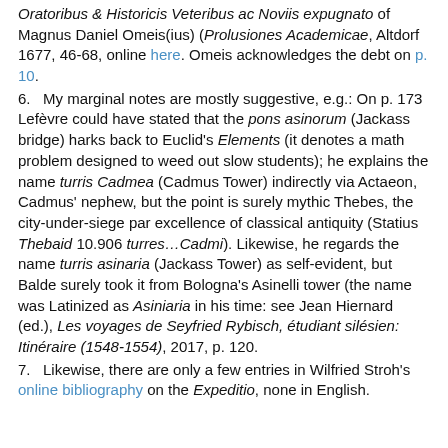Oratoribus & Historicis Veteribus ac Noviis expugnato of Magnus Daniel Omeis(ius) (Prolusiones Academicae, Altdorf 1677, 46-68, online here. Omeis acknowledges the debt on p. 10.
6.   My marginal notes are mostly suggestive, e.g.: On p. 173 Lefèvre could have stated that the pons asinorum (Jackass bridge) harks back to Euclid's Elements (it denotes a math problem designed to weed out slow students); he explains the name turris Cadmea (Cadmus Tower) indirectly via Actaeon, Cadmus' nephew, but the point is surely mythic Thebes, the city-under-siege par excellence of classical antiquity (Statius Thebaid 10.906 turres…Cadmi). Likewise, he regards the name turris asinaria (Jackass Tower) as self-evident, but Balde surely took it from Bologna's Asinelli tower (the name was Latinized as Asiniaria in his time: see Jean Hiernard (ed.), Les voyages de Seyfried Rybisch, étudiant silésien: Itinéraire (1548-1554), 2017, p. 120.
7.   Likewise, there are only a few entries in Wilfried Stroh's online bibliography on the Expeditio, none in English.